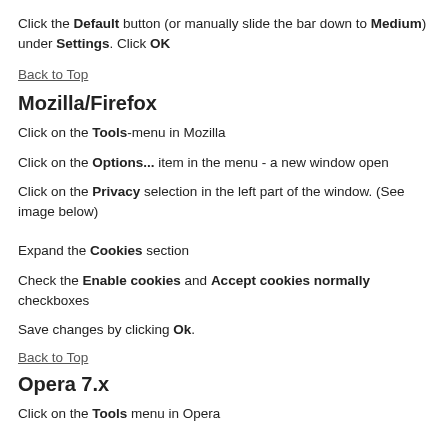Click the Default button (or manually slide the bar down to Medium) under Settings. Click OK
Back to Top
Mozilla/Firefox
Click on the Tools-menu in Mozilla
Click on the Options... item in the menu - a new window open
Click on the Privacy selection in the left part of the window. (See image below)
Expand the Cookies section
Check the Enable cookies and Accept cookies normally checkboxes
Save changes by clicking Ok.
Back to Top
Opera 7.x
Click on the Tools menu in Opera